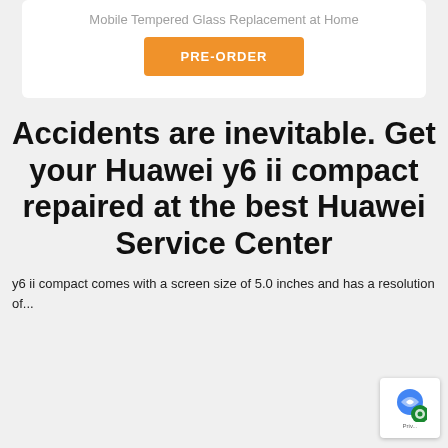Mobile Tempered Glass Replacement at Home
PRE-ORDER
Accidents are inevitable. Get your Huawei y6 ii compact repaired at the best Huawei Service Center
y6 ii compact comes with a screen size of 5.0 inches and has a resolution of...